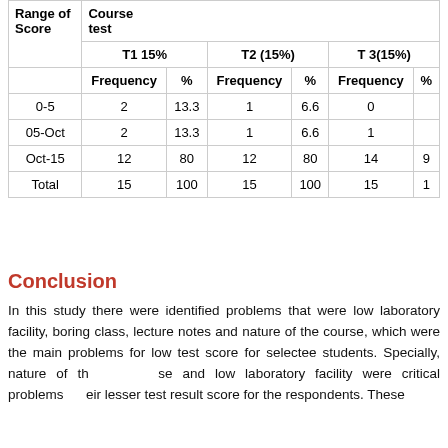| Range of Score | Course test |  |  |  |  |  |  |
| --- | --- | --- | --- | --- | --- | --- | --- |
|  | T1 15% |  | T2 (15%) |  | T 3(15%) |  |
|  | Frequency | % | Frequency | % | Frequency | % |
| 0-5 | 2 | 13.3 | 1 | 6.6 | 0 |  |
| 05-Oct | 2 | 13.3 | 1 | 6.6 | 1 |  |
| Oct-15 | 12 | 80 | 12 | 80 | 14 | 9 |
| Total | 15 | 100 | 15 | 100 | 15 | 1 |
Conclusion
In this study there were identified problems that were low laboratory facility, boring class, lecture notes and nature of the course, which were the main problems for low test score for selectee students. Specially, nature of the course and low laboratory facility were critical problems for their lesser test result score for the respondents. These problems were caused by their investigation to provide